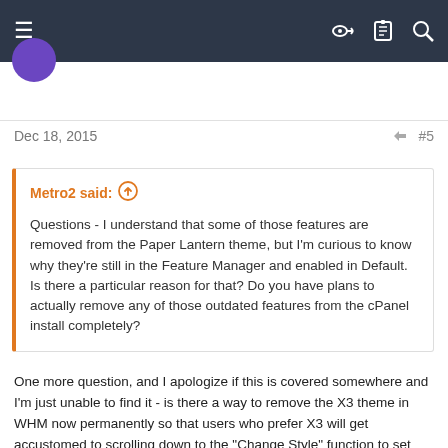Navigation bar with menu, avatar, key icon, list icon, search icon
Dec 18, 2015
#5
Metro2 said: ↑

Questions - I understand that some of those features are removed from the Paper Lantern theme, but I'm curious to know why they're still in the Feature Manager and enabled in Default. Is there a particular reason for that? Do you have plans to actually remove any of those outdated features from the cPanel install completely?
One more question, and I apologize if this is covered somewhere and I'm just unable to find it - is there a way to remove the X3 theme in WHM now permanently so that users who prefer X3 will get accustomed to scrolling down to the "Change Style" function to set their theme to "Retro" ?
Thanks again for any answers to the above questions.